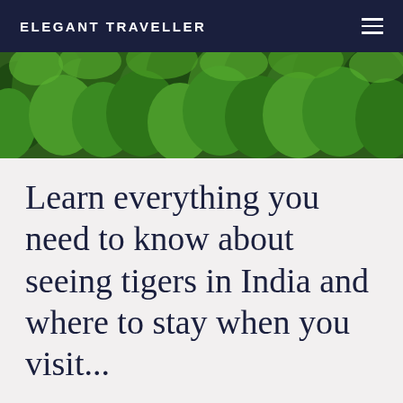ELEGANT TRAVELLER
[Figure (photo): Aerial view of dense green forest canopy]
Learn everything you need to know about seeing tigers in India and where to stay when you visit...